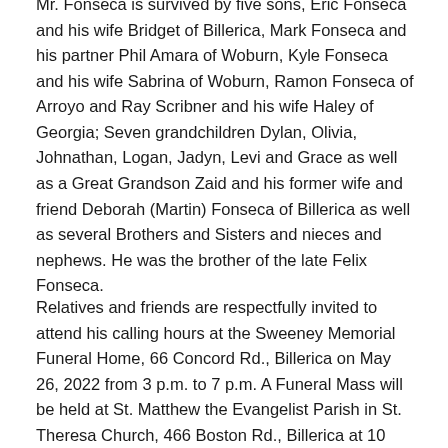Mr. Fonseca is survived by five sons, Eric Fonseca and his wife Bridget of Billerica, Mark Fonseca and his partner Phil Amara of Woburn, Kyle Fonseca and his wife Sabrina of Woburn, Ramon Fonseca of Arroyo and Ray Scribner and his wife Haley of Georgia; Seven grandchildren Dylan, Olivia, Johnathan, Logan, Jadyn, Levi and Grace as well as a Great Grandson Zaid and his former wife and friend Deborah (Martin) Fonseca of Billerica as well as several Brothers and Sisters and nieces and nephews. He was the brother of the late Felix Fonseca.
Relatives and friends are respectfully invited to attend his calling hours at the Sweeney Memorial Funeral Home, 66 Concord Rd., Billerica on May 26, 2022 from 3 p.m. to 7 p.m. A Funeral Mass will be held at St. Matthew the Evangelist Parish in St. Theresa Church, 466 Boston Rd., Billerica at 10 a.m. on May 27, 2022